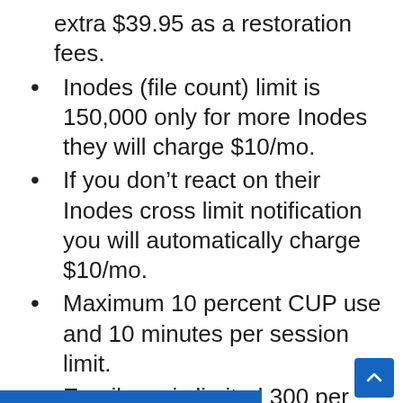extra $39.95 as a restoration fees.
Inodes (file count) limit is 150,000 only for more Inodes they will charge $10/mo.
If you don’t react on their Inodes cross limit notification you will automatically charge $10/mo.
Maximum 10 percent CUP use and 10 minutes per session limit.
Email use is limited 300 per hour and 3000 per day
Promotional price only applicable for 4 year contract.